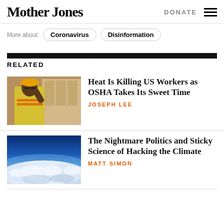Mother Jones | DONATE
More about: Coronavirus Disinformation
RELATED
[Figure (photo): Worker in yellow safety vest and hard hat wiping forehead in a warehouse setting]
Heat Is Killing US Workers as OSHA Takes Its Sweet Time
JOSEPH LEE
[Figure (photo): Aerial view of Earth's atmosphere and clouds from high altitude]
The Nightmare Politics and Sticky Science of Hacking the Climate
MATT SIMON